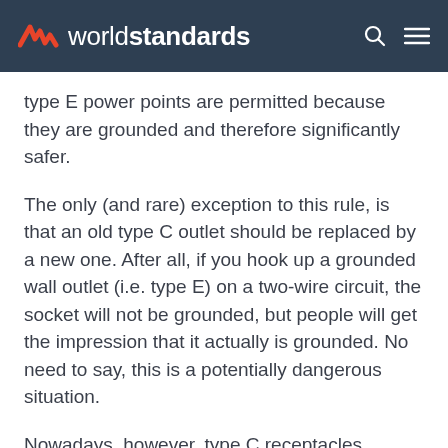worldstandards
type E power points are permitted because they are grounded and therefore significantly safer.
The only (and rare) exception to this rule, is that an old type C outlet should be replaced by a new one. After all, if you hook up a grounded wall outlet (i.e. type E) on a two-wire circuit, the socket will not be grounded, but people will get the impression that it actually is grounded. No need to say, this is a potentially dangerous situation.
Nowadays, however, type C receptacles